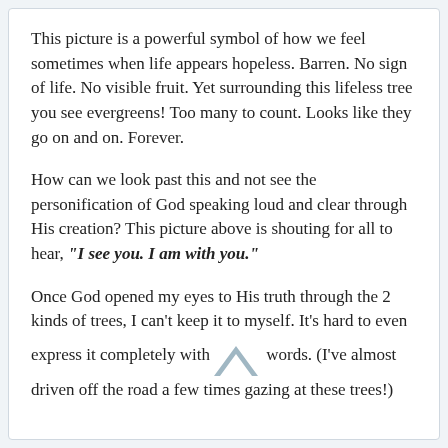This picture is a powerful symbol of how we feel sometimes when life appears hopeless. Barren. No sign of life. No visible fruit. Yet surrounding this lifeless tree you see evergreens! Too many to count. Looks like they go on and on. Forever.
How can we look past this and not see the personification of God speaking loud and clear through His creation? This picture above is shouting for all to hear, "I see you. I am with you."
Once God opened my eyes to His truth through the 2 kinds of trees, I can't keep it to myself. It's hard to even express it completely with words. (I've almost driven off the road a few times gazing at these trees!)